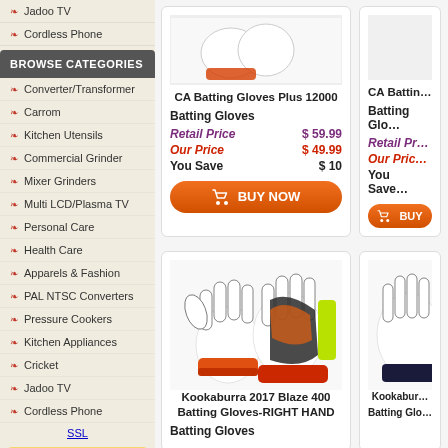Jadoo TV
Cordless Phone
BROWSE CATEGORIES
Converter/Transformer
Carrom
Kitchen Utensils
Commercial Grinder
Mixer Grinders
Multi LCD/Plasma TV
Personal Care
Health Care
Apparels & Fashion
PAL NTSC Converters
Pressure Cookers
Kitchen Appliances
Cricket
Jadoo TV
Cordless Phone
SSL
OTHER CATEGORIES
CA Batting Gloves Plus 12000
Batting Gloves
| Retail Price | $ 59.99 |
| Our Price | $ 49.99 |
| You Save | $ 10 |
BUY NOW
[Figure (photo): Kookaburra 2017 Blaze 400 Batting Gloves - RIGHT HAND, white gloves with orange/red/dark color accents]
Kookaburra 2017 Blaze 400 Batting Gloves-RIGHT HAND
Batting Gloves